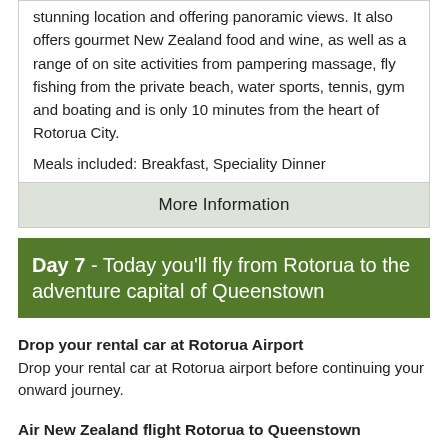stunning location and offering panoramic views. It also offers gourmet New Zealand food and wine, as well as a range of on site activities from pampering massage, fly fishing from the private beach, water sports, tennis, gym and boating and is only 10 minutes from the heart of Rotorua City.
Meals included: Breakfast, Speciality Dinner
More Information
Day 7 - Today you'll fly from Rotorua to the adventure capital of Queenstown
Drop your rental car at Rotorua Airport
Drop your rental car at Rotorua airport before continuing your onward journey.
Air New Zealand flight Rotorua to Queenstown
Collect your rental car
This tour can be priced with any of the rental cars available in our